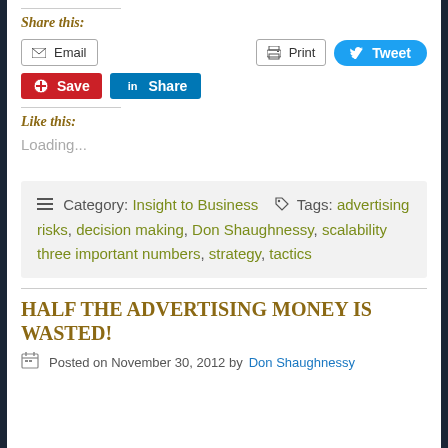Share this:
Email | Print | Tweet | Save | Share
Like this:
Loading...
Category: Insight to Business  Tags: advertising risks, decision making, Don Shaughnessy, scalability three important numbers, strategy, tactics
HALF THE ADVERTISING MONEY IS WASTED!
Posted on November 30, 2012 by Don Shaughnessy